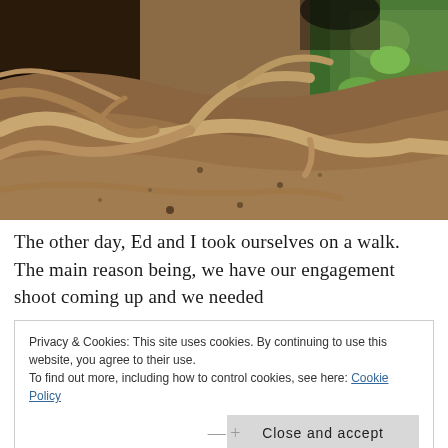[Figure (photo): Outdoor nature photograph showing exposed tree roots on a dirt path with green foliage/plants visible on the right side. The ground is brown/earthy with gnarled roots spreading across the soil surface.]
The other day, Ed and I took ourselves on a walk. The main reason being, we have our engagement shoot coming up and we needed
Privacy & Cookies: This site uses cookies. By continuing to use this website, you agree to their use.
To find out more, including how to control cookies, see here: Cookie Policy
Close and accept